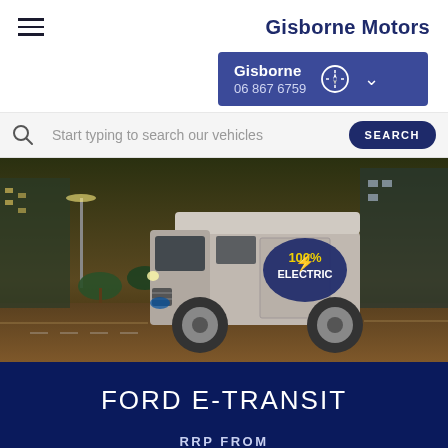Gisborne Motors
Gisborne
06 867 6759
Start typing to search our vehicles
[Figure (photo): Ford E-Transit electric van driving on a city road at night, with '100% Electric' logo on the side panel. Urban background with buildings and trees lit at night.]
FORD E-TRANSIT
RRP FROM
$ POA